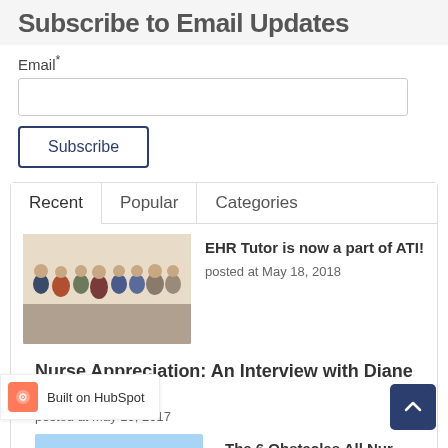Subscribe to Email Updates
Email*
Subscribe
Recent | Popular | Categories
[Figure (photo): Group photo of EHR Tutor team members standing together in an office setting]
EHR Tutor is now a part of ATI!
posted at May 18, 2018
Nurse Appreciation: An Interview with Diane Yeager
posted at May 10, 2017
Built on HubSpot